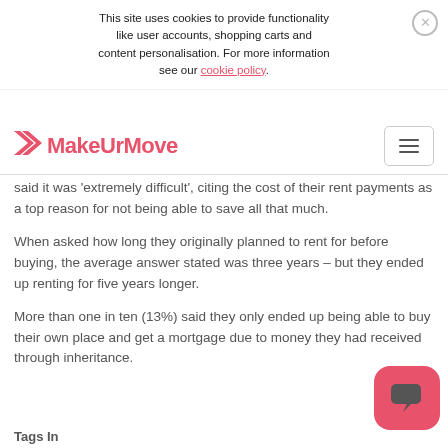This site uses cookies to provide functionality like user accounts, shopping carts and content personalisation. For more information see our cookie policy.
MakeUrMove
said it was 'extremely difficult', citing the cost of their rent payments as a top reason for not being able to save all that much.
When asked how long they originally planned to rent for before buying, the average answer stated was three years – but they ended up renting for five years longer.
More than one in ten (13%) said they only ended up being able to buy their own place and get a mortgage due to money they had received through inheritance.
Tags In